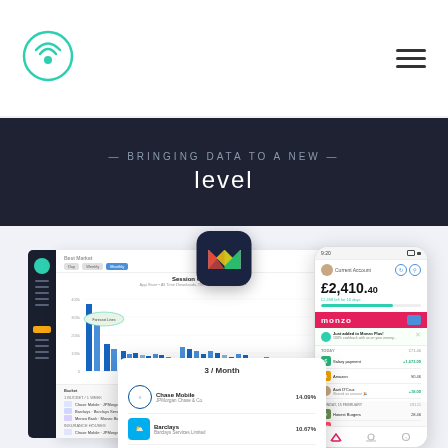[Figure (logo): Circular logo with WiFi/signal icon in teal/green color]
[Figure (illustration): Hamburger menu icon (three horizontal lines)]
level
[Figure (screenshot): Financial dashboard screenshot showing Session Count bar chart with analytics data, sidebar navigation, and a table of banking apps (Chase Mobile 14.09%, Barclays 10.67%, Monzo Bank 10.68%). Overlaid with Monzo app phone mockup showing Current Account £2,410.40 balance, transactions including Salary payment +£1,672.00, Amazon 90.46, Aarti D'Cruz +18.00, Honest Burgers 28.46, Bulb Energy 42.10, Uber 13.91. Monzo M logo icon overlay in top center.]